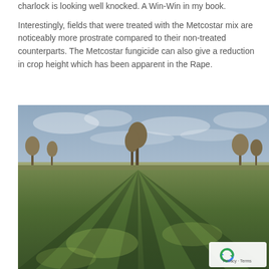charlock is looking well knocked. A Win-Win in my book.

Interestingly, fields that were treated with the Metcostar mix are noticeably more prostrate compared to their non-treated counterparts. The Metcostar fungicide can also give a reduction in crop height which has been apparent in the Rape.
[Figure (photo): A wide-angle photograph of a cultivated field with rows of low green crops (oilseed rape) extending to the horizon in a strong perspective, with bare trees in the middle distance and an overcast grey-blue sky. A small reCAPTCHA privacy badge appears in the lower-right corner.]